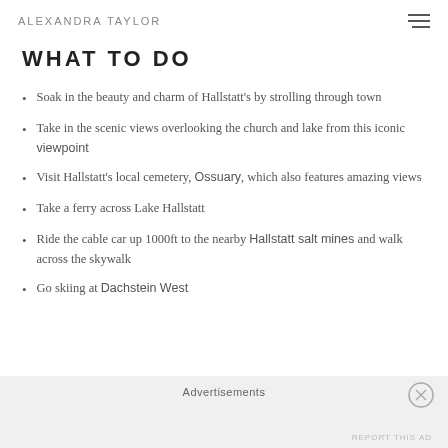ALEXANDRA TAYLOR
WHAT TO DO
Soak in the beauty and charm of Hallstatt's by strolling through town
Take in the scenic views overlooking the church and lake from this iconic viewpoint
Visit Hallstatt's local cemetery, Ossuary, which also features amazing views
Take a ferry across Lake Hallstatt
Ride the cable car up 1000ft to the nearby Hallstatt salt mines and walk across the skywalk
Go skiing at Dachstein West
Advertisements